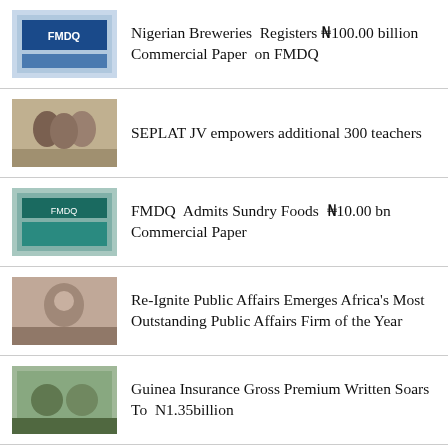Nigerian Breweries Registers ₦100.00 billion Commercial Paper on FMDQ
SEPLAT JV empowers additional 300 teachers
FMDQ Admits Sundry Foods ₦10.00 bn Commercial Paper
Re-Ignite Public Affairs Emerges Africa's Most Outstanding Public Affairs Firm of the Year
Guinea Insurance Gross Premium Written Soars To N1.35billion
Sovereign Trust Insurance holds 27th Annual General Meeting in Lagos.
Anchor Insurance Pays Courtesy Visit To